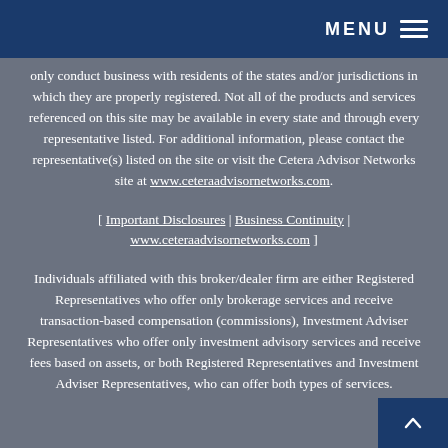MENU ≡
only conduct business with residents of the states and/or jurisdictions in which they are properly registered. Not all of the products and services referenced on this site may be available in every state and through every representative listed. For additional information, please contact the representative(s) listed on the site or visit the Cetera Advisor Networks site at www.ceteraadvisornetworks.com.
[ Important Disclosures | Business Continuity | www.ceteraadvisornetworks.com ]
Individuals affiliated with this broker/dealer firm are either Registered Representatives who offer only brokerage services and receive transaction-based compensation (commissions), Investment Adviser Representatives who offer only investment advisory services and receive fees based on assets, or both Registered Representatives and Investment Adviser Representatives, who can offer both types of services.